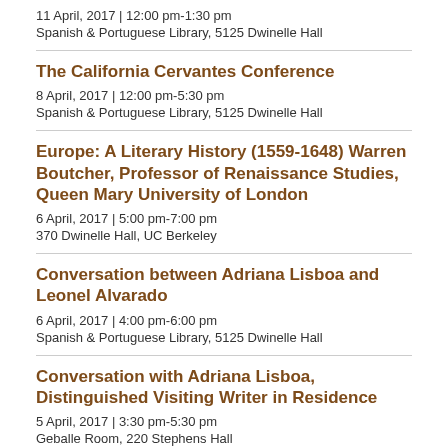11 April, 2017 | 12:00 pm-1:30 pm
Spanish & Portuguese Library, 5125 Dwinelle Hall
The California Cervantes Conference
8 April, 2017 | 12:00 pm-5:30 pm
Spanish & Portuguese Library, 5125 Dwinelle Hall
Europe: A Literary History (1559-1648) Warren Boutcher, Professor of Renaissance Studies, Queen Mary University of London
6 April, 2017 | 5:00 pm-7:00 pm
370 Dwinelle Hall, UC Berkeley
Conversation between Adriana Lisboa and Leonel Alvarado
6 April, 2017 | 4:00 pm-6:00 pm
Spanish & Portuguese Library, 5125 Dwinelle Hall
Conversation with Adriana Lisboa, Distinguished Visiting Writer in Residence
5 April, 2017 | 3:30 pm-5:30 pm
Geballe Room, 220 Stephens Hall
Poetry out of Place: Readings and Conversation with Adriana Lisboa and Leonel Alvarado